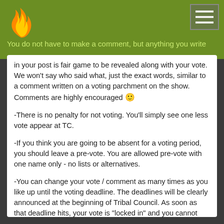[Figure (logo): Orange flame logo icon on green header background]
You do not have to make a comment, but anything you write in your post is fair game to be revealed along with your vote. We won't say who said what, just the exact words, similar to a comment written on a voting parchment on the show. Comments are highly encouraged 🙂
-There is no penalty for not voting. You'll simply see one less vote appear at TC.
-If you think you are going to be absent for a voting period, you should leave a pre-vote. You are allowed pre-vote with one name only - no lists or alternatives.
-You can change your vote / comment as many times as you like up until the voting deadline. The deadlines will be clearly announced at the beginning of Tribal Council. As soon as that deadline hits, your vote is "locked in" and you cannot change it, so be certain it is what you want to do.